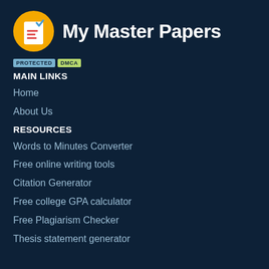My Master Papers
[Figure (logo): Yellow circle logo with a document/checklist icon in white and red]
PROTECTED DMCA
MAIN LINKS
Home
About Us
RESOURCES
Words to Minutes Converter
Free online writing tools
Citation Generator
Free college GPA calculator
Free Plagiarism Checker
Thesis statement generator